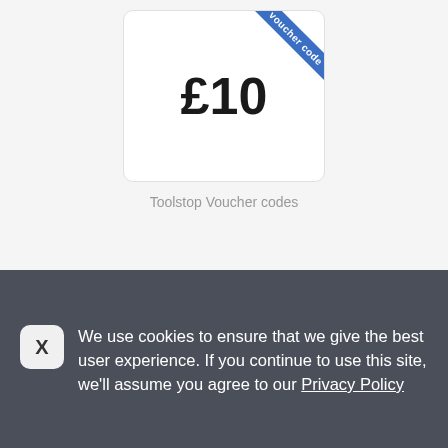[Figure (illustration): Voucher/gift card graphic showing £10 in large bold text with a blue diagonal ribbon banner in the top-right corner reading 'voucher code']
Toolstop Voucher codes
Voucher codes Toolstop • 05/09/2022
Welcome Discount Discover all the promotions and discounts at Toolstop
Sign Up & We'll Send You A Unique Code For £10 Off Your First Order Over £250Requires Newsletter Subscription Join The Newsletter and We'll Take £10 off Your First Order Over £250Sign Up & We'll Send You A Unique Code For £10
We use cookies to ensure that we give the best user experience. If you continue to use this site, we'll assume you agree to our Privacy Policy